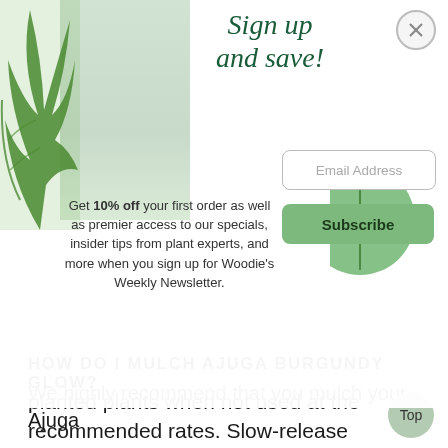[Figure (screenshot): Newsletter signup popup overlay with plant imagery. Contains 'Sign up and save!' heading, promotional text offering 10% off first order, email address input field, and Subscribe button.]
Sign up and save!
Get 10% off your first order as well as premier access to our specials, insider tips from plant experts, and more when you sign up for Woodie's Weekly Newsletter.
planted plants when not used at the recommended rates. Slow-release fertilizer can help prevent rapid soft growth that is vulnerable to diseases and insects.
HOW DO I MULCH AJUGA BURGUNDY GLOW?
We highly recommend that you mulch your Ajuga